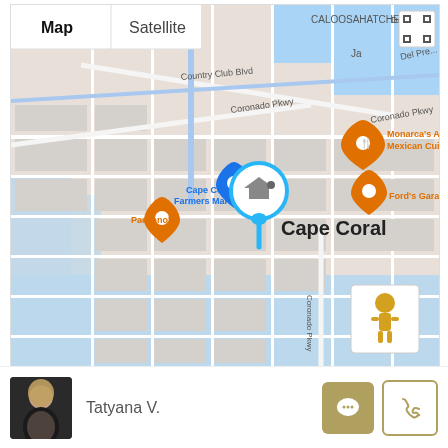[Figure (map): Google Maps view of Cape Coral, Florida showing Map/Satellite toggle controls, location pin for Cape Coral, nearby points of interest including Cape Coral Farmers Market, Monarca's Authentic Mexican Cuisine, Ford's Garage, Paesano's, street grid with Coronado Pkwy, Country Club Blvd, Caloosahatchee waterways, and a Street View pegman icon.]
Tatyana V.